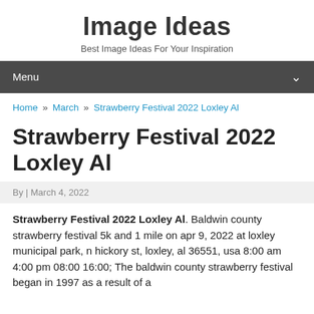Image Ideas
Best Image Ideas For Your Inspiration
Menu
Home » March » Strawberry Festival 2022 Loxley Al
Strawberry Festival 2022 Loxley Al
By | March 4, 2022
Strawberry Festival 2022 Loxley Al. Baldwin county strawberry festival 5k and 1 mile on apr 9, 2022 at loxley municipal park, n hickory st, loxley, al 36551, usa 8:00 am 4:00 pm 08:00 16:00; The baldwin county strawberry festival began in 1997 as a result of a